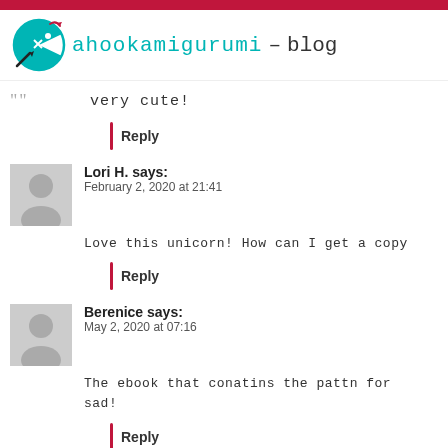ahookamigurumi – blog
very cute!
Reply
Lori H. says:
February 2, 2020 at 21:41
Love this unicorn! How can I get a copy
Reply
Berenice says:
May 2, 2020 at 07:16
The ebook that conatins the pattn for sad!
Reply
Patricia Rose says: